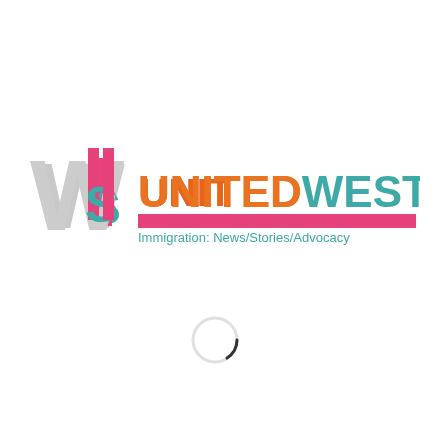[Figure (logo): United We Stay logo: stylized UWS lettermark in pink, teal, and gray, followed by UNITEDWESTAY in orange and teal, with a pink horizontal bar and tagline 'Immigration: News/Stories/Advocacy']
[Figure (other): Loading spinner arc circle indicator]